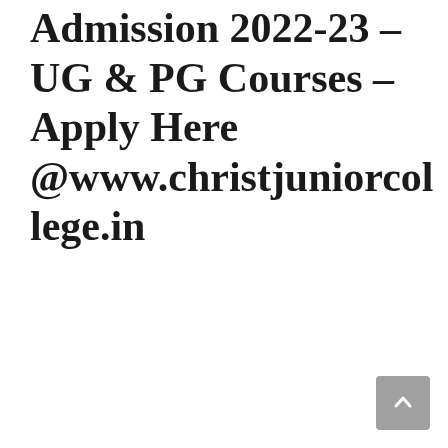Admission 2022-23 – UG & PG Courses – Apply Here @www.christjuniorcollege.in